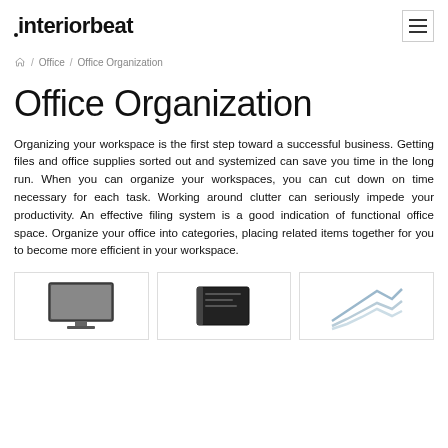interiorbeat
/ Office / Office Organization
Office Organization
Organizing your workspace is the first step toward a successful business. Getting files and office supplies sorted out and systemized can save you time in the long run. When you can organize your workspaces, you can cut down on time necessary for each task. Working around clutter can seriously impede your productivity. An effective filing system is a good indication of functional office space. Organize your office into categories, placing related items together for you to become more efficient in your workspace.
[Figure (photo): Three product images: a monitor, a black folder/binder, and a line chart illustration]
[Figure (photo): Black folder/binder product image]
[Figure (photo): Line chart illustration product image]